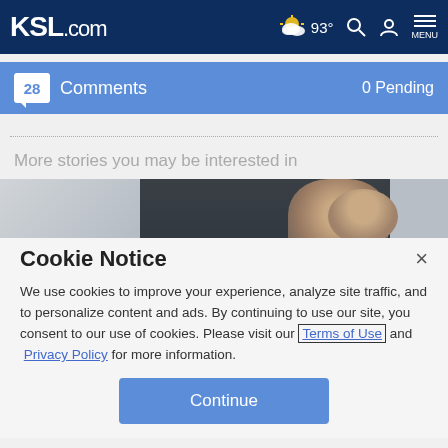KSL.com — 93° weather, search, account, menu navigation bar
28 Comments   0 Pending
More stories you may be interested in
[Figure (photo): Partial photo of a person near a dark door]
Cookie Notice
We use cookies to improve your experience, analyze site traffic, and to personalize content and ads. By continuing to use our site, you consent to our use of cookies. Please visit our Terms of Use and  Privacy Policy for more information.
Continue